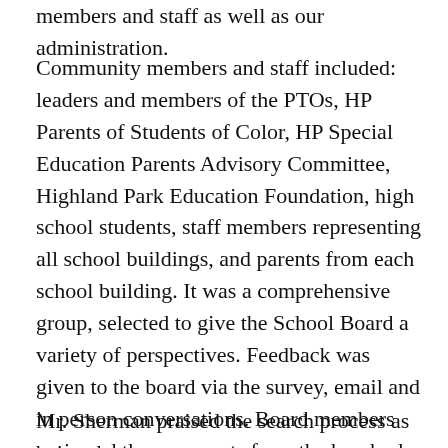members and staff as well as our administration.
Community members and staff included: leaders and members of the PTOs, HP Parents of Students of Color, HP Special Education Parents Advisory Committee, Highland Park Education Foundation, high school students, staff members representing all school buildings, and parents from each school building. It was a comprehensive group, selected to give the School Board a variety of perspectives. Feedback was given to the board via the survey, email and in person conversations. Board members reviewed the comments from the hundreds of community members who took the time to fill out the candidate profile survey and/or to make their comments at the Community meetings.
Mr. Sherman praised the search process as being the